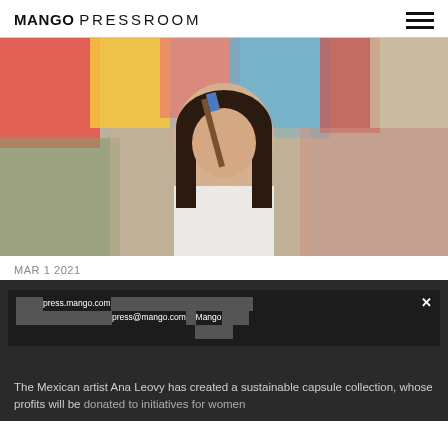MANGO PRESSROOM
[Figure (photo): A woman with dark hair holding a paintbrush in front of colorful artworks in a studio setting.]
MAR 1 2021
MANGO CELEBRATES THE ROLE OF FEMALE ARTISTS ON INTERNATIONAL WOMEN'S DAY
The Mexican artist Ana Leovy has created a sustainable capsule collection, whose profits will be donated to initiatives for women
press.mango.com | press@mango.com | Mango